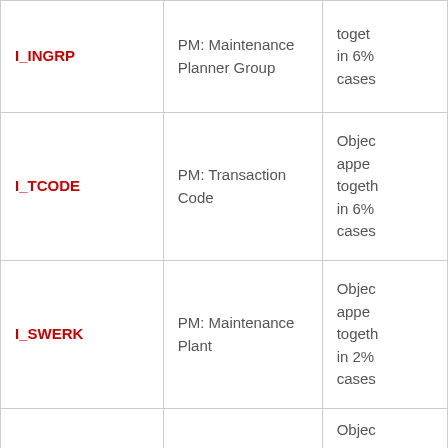| Parameter | Description | Notes |
| --- | --- | --- |
| I_INGRP | PM: Maintenance Planner Group | together in 6% cases |
| I_TCODE | PM: Transaction Code | Object appears together in 6% cases |
| I_SWERK | PM: Maintenance Plant | Object appears together in 2% cases |
|  |  | Object appea... |